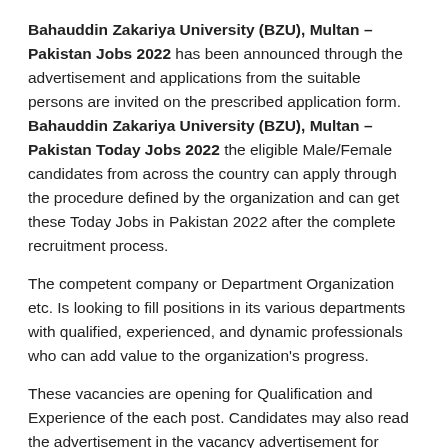Bahauddin Zakariya University (BZU), Multan –Pakistan Jobs 2022 has been announced through the advertisement and applications from the suitable persons are invited on the prescribed application form. Bahauddin Zakariya University (BZU), Multan – Pakistan Today Jobs 2022 the eligible Male/Female candidates from across the country can apply through the procedure defined by the organization and can get these Today Jobs in Pakistan 2022 after the complete recruitment process.
The competent company or Department Organization etc. Is looking to fill positions in its various departments with qualified, experienced, and dynamic professionals who can add value to the organization's progress.
These vacancies are opening for Qualification and Experience of the each post. Candidates may also read the advertisement in the vacancy advertisement for further detail.